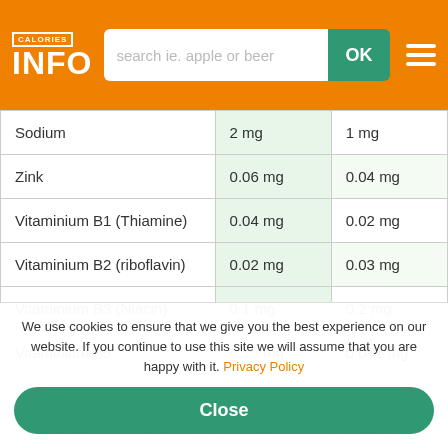CALORIES INFO - search ie. apple or beer - OK
|  |  |  |
| --- | --- | --- |
| Sodium | 2 mg | 1 mg |
| Zink | 0.06 mg | 0.04 mg |
| Vitaminium B1 (Thiamine) | 0.04 mg | 0.02 mg |
| Vitaminium B2 (riboflavin) | 0.02 mg | 0.03 mg |
| Vitaminium B3 (Niacin) | 0.1 mg | 0.2 mg |
| Vitaminium B5 | 0.19 mg | 0.081 mg |
| Vitaminium B6 | 0.08 mg | 0.04 mg |
| Vitaminium B9 (Folic acid) | 11 mg | 8 mg |
We use cookies to ensure that we give you the best experience on our website. If you continue to use this site we will assume that you are happy with it. Privacy Policy
Close